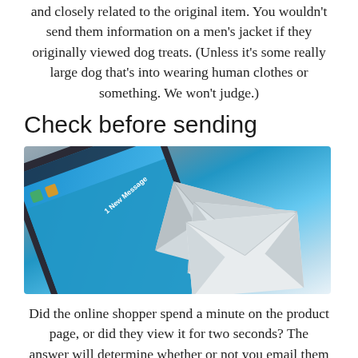and closely related to the original item. You wouldn't send them information on a men's jacket if they originally viewed dog treats. (Unless it's some really large dog that's into wearing human clothes or something. We won't judge.)
Check before sending
[Figure (photo): A tablet device shown at an angle displaying a blue email/messaging interface screen with envelope icons floating out of it, suggesting new messages or email sending.]
Did the online shopper spend a minute on the product page, or did they view it for two seconds? The answer will determine whether or not you email them